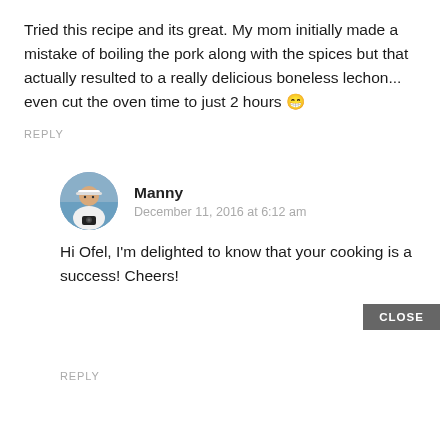Tried this recipe and its great. My mom initially made a mistake of boiling the pork along with the spices but that actually resulted to a really delicious boneless lechon... even cut the oven time to just 2 hours 😁
REPLY
Manny
December 11, 2016 at 6:12 am
Hi Ofel, I'm delighted to know that your cooking is a success! Cheers!
CLOSE
REPLY